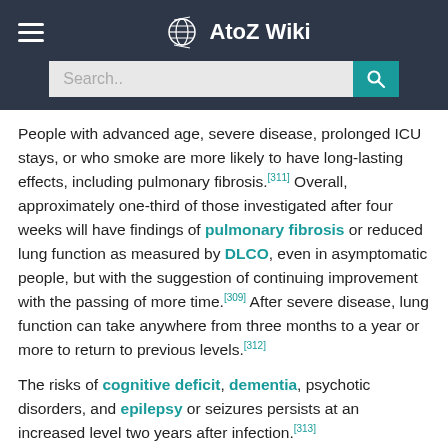AtoZ Wiki
People with advanced age, severe disease, prolonged ICU stays, or who smoke are more likely to have long-lasting effects, including pulmonary fibrosis.[311] Overall, approximately one-third of those investigated after four weeks will have findings of pulmonary fibrosis or reduced lung function as measured by DLCO, even in asymptomatic people, but with the suggestion of continuing improvement with the passing of more time.[309] After severe disease, lung function can take anywhere from three months to a year or more to return to previous levels.[312]
The risks of cognitive deficit, dementia, psychotic disorders, and epilepsy or seizures persists at an increased level two years after infection.[313]
Immunity